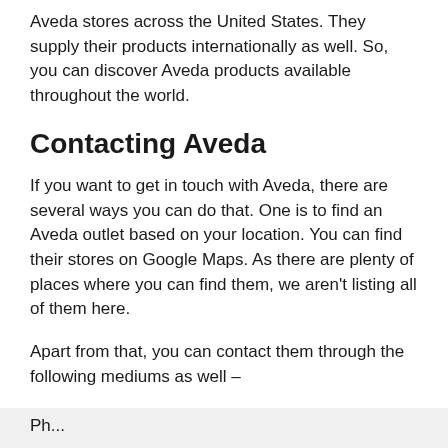Aveda stores across the United States. They supply their products internationally as well. So, you can discover Aveda products available throughout the world.
Contacting Aveda
If you want to get in touch with Aveda, there are several ways you can do that. One is to find an Aveda outlet based on your location. You can find their stores on Google Maps. As there are plenty of places where you can find them, we aren't listing all of them here.
Apart from that, you can contact them through the following mediums as well –
Ph...